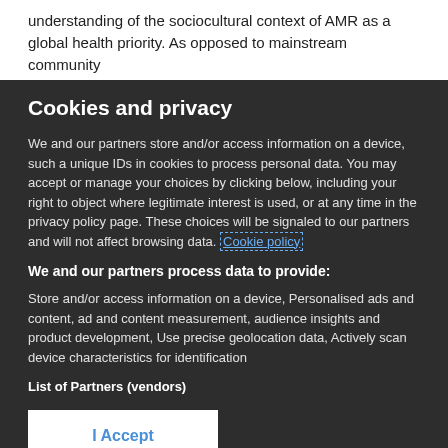understanding of the sociocultural context of AMR as a global health priority. As opposed to mainstream community
Cookies and privacy
We and our partners store and/or access information on a device, such a unique IDs in cookies to process personal data. You may accept or manage your choices by clicking below, including your right to object where legitimate interest is used, or at any time in the privacy policy page. These choices will be signaled to our partners and will not affect browsing data. Cookie policy
We and our partners process data to provide:
Store and/or access information on a device, Personalised ads and content, ad and content measurement, audience insights and product development, Use precise geolocation data, Actively scan device characteristics for identification
List of Partners (vendors)
I Accept